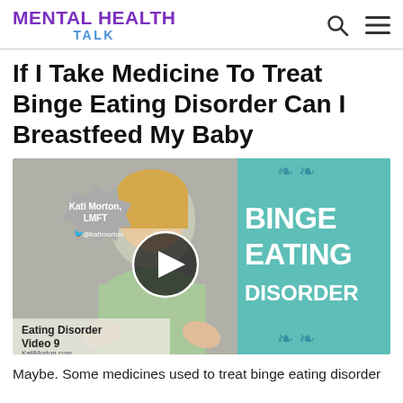MENTAL HEALTH TALK
If I Take Medicine To Treat Binge Eating Disorder Can I Breastfeed My Baby
[Figure (screenshot): Video thumbnail showing Kati Morton, LMFT (@katimorton on Twitter) speaking about Binge Eating Disorder. Text on left: 'Kati Morton, LMFT @katimorton'. Right side has teal background with 'BINGE EATING DISORDER' in large white text. Bottom left shows 'Eating Disorder Video 9 KatiMorton.com'. A play button circle is centered on the video.]
Maybe. Some medicines used to treat binge eating disorder